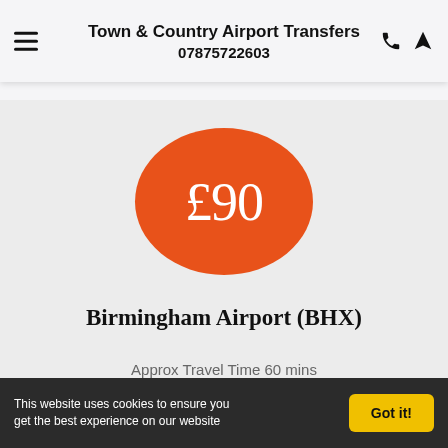Town & Country Airport Transfers 07875722603
[Figure (infographic): Orange circle with price £90 displayed in white serif text]
Birmingham Airport (BHX)
Approx Travel Time 60 mins
This website uses cookies to ensure you get the best experience on our website